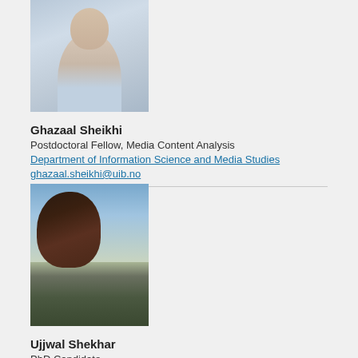[Figure (photo): Headshot photo of Ghazaal Sheikhi, cropped at top]
Ghazaal Sheikhi
Postdoctoral Fellow, Media Content Analysis
Department of Information Science and Media Studies
ghazaal.sheikhi@uib.no
[Figure (photo): Outdoor photo of Ujjwal Shekhar with coastal landscape in background]
Ujjwal Shekhar
PhD Candidate